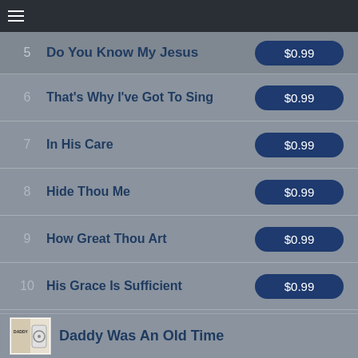5  Do You Know My Jesus  $0.99
6  That's Why I've Got To Sing  $0.99
7  In His Care  $0.99
8  Hide Thou Me  $0.99
9  How Great Thou Art  $0.99
10  His Grace Is Sufficient  $0.99
11  More About Jesus  $0.99
12  There Is A Change  $0.99
Daddy Was An Old Time